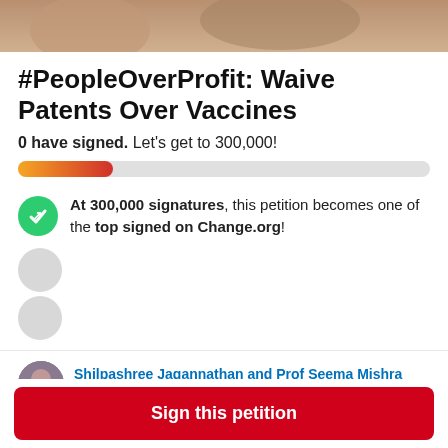[Figure (photo): Partial photo strip at top of page showing people]
#PeopleOverProfit: Waive Patents Over Vaccines
0 have signed. Let's get to 300,000!
[Figure (infographic): Progress bar showing partial fill from orange to red on grey background]
At 300,000 signatures, this petition becomes one of the top signed on Change.org!
Shilpashree Jagannathan and Prof Seema Mishra started this petition to Boris Johnson and 1 other
We've all read and heard about how bad things have
Sign this petition